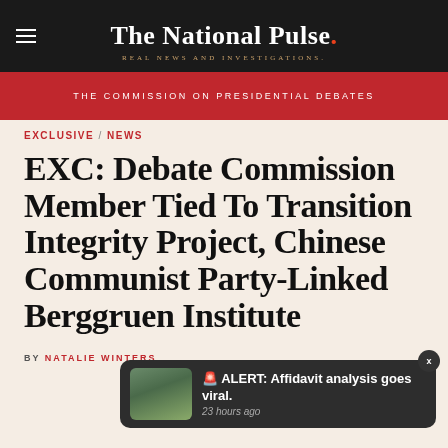The National Pulse. REAL NEWS AND INVESTIGATIONS.
THE COMMISSION ON PRESIDENTIAL DEBATES
EXCLUSIVE / NEWS
EXC: Debate Commission Member Tied To Transition Integrity Project, Chinese Communist Party-Linked Berggruen Institute
BY NATALIE WINTERS
[Figure (screenshot): Notification popup: red star emoji, ALERT: Affidavit analysis goes viral. 23 hours ago, with thumbnail image of building with palm trees]